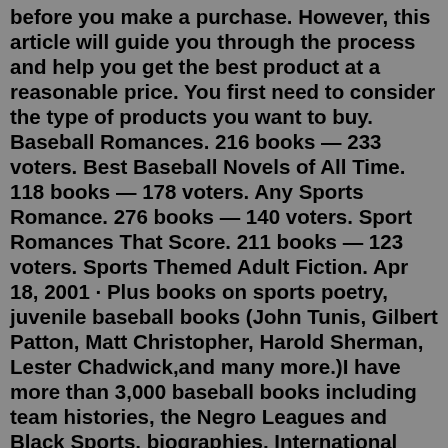before you make a purchase. However, this article will guide you through the process and help you get the best product at a reasonable price. You first need to consider the type of products you want to buy. Baseball Romances. 216 books — 233 voters. Best Baseball Novels of All Time. 118 books — 178 voters. Any Sports Romance. 276 books — 140 voters. Sport Romances That Score. 211 books — 123 voters. Sports Themed Adult Fiction. Apr 18, 2001 · Plus books on sports poetry, juvenile baseball books (John Tunis, Gilbert Patton, Matt Christopher, Harold Sherman, Lester Chadwick,and many more.)I have more than 3,000 baseball books including team histories, the Negro Leagues and Black Sports, biographies, International Baseball, Economics and the Law of Sport, sportswriters and broadcasters ... Baseball Books More baseball books... Lists Picture Books About Sports & Recreation by African-Americans 6 books — 1 voter Sport Romances That Score 211 books — 123 voters Best Baseball Novels of All Time 116 books — 177 voters YA Baseball and